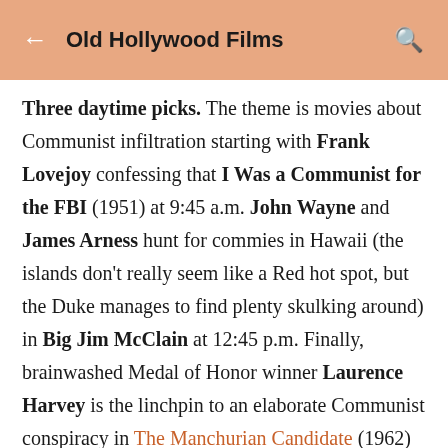Old Hollywood Films
Three daytime picks. The theme is movies about Communist infiltration starting with Frank Lovejoy confessing that I Was a Communist for the FBI (1951) at 9:45 a.m. John Wayne and James Arness hunt for commies in Hawaii (the islands don't really seem like a Red hot spot, but the Duke manages to find plenty skulking around) in Big Jim McClain at 12:45 p.m. Finally, brainwashed Medal of Honor winner Laurence Harvey is the linchpin to an elaborate Communist conspiracy in The Manchurian Candidate (1962) at 5:45 p.m. Prime time lineup: Each Monday in October, TCM
Prime time lineup: Each Monday in October, TCM